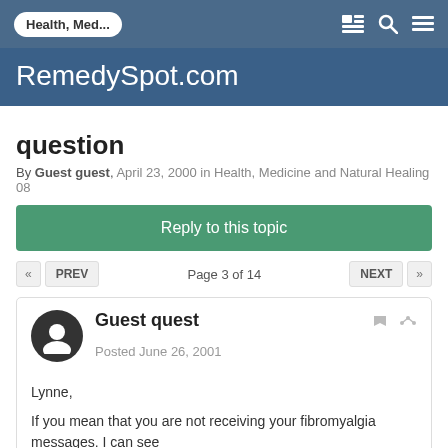Health, Med... | RemedySpot.com
question
By Guest guest, April 23, 2000 in Health, Medicine and Natural Healing 08
Reply to this topic
« PREV  Page 3 of 14  NEXT »
Guest quest
Posted June 26, 2001

Lynne,

If you mean that you are not receiving your fibromyalgia messages. I can see